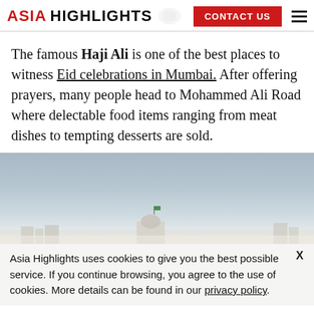ASIA HIGHLIGHTS | CONTACT US
The famous Haji Ali is one of the best places to witness Eid celebrations in Mumbai. After offering prayers, many people head to Mohammed Ali Road where delectable food items ranging from meat dishes to tempting desserts are sold.
[Figure (photo): Skyline photo of a domed building (Haji Ali or similar Mumbai landmark) against a hazy grey-blue sky]
Asia Highlights uses cookies to give you the best possible service. If you continue browsing, you agree to the use of cookies. More details can be found in our privacy policy.